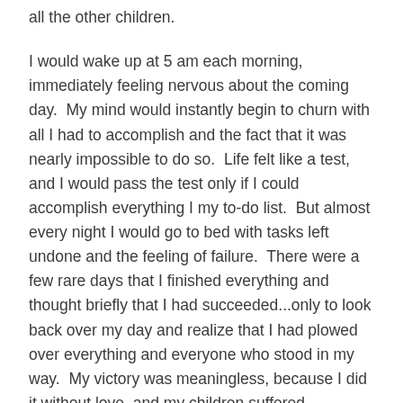all the other children.
I would wake up at 5 am each morning, immediately feeling nervous about the coming day.  My mind would instantly begin to churn with all I had to accomplish and the fact that it was nearly impossible to do so.  Life felt like a test, and I would pass the test only if I could accomplish everything I my to-do list.  But almost every night I would go to bed with tasks left undone and the feeling of failure.  There were a few rare days that I finished everything and thought briefly that I had succeeded...only to look back over my day and realize that I had plowed over everything and everyone who stood in my way.  My victory was meaningless, because I did it without love, and my children suffered.
Thinking on these past failures, I would go from being